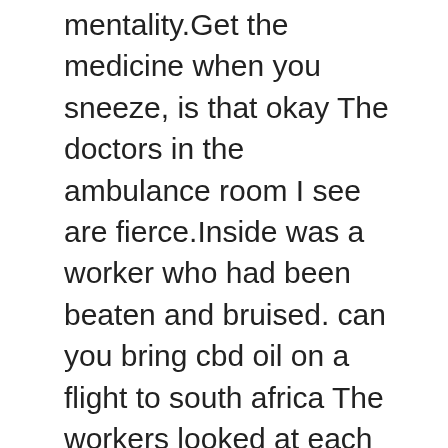mentality.Get the medicine when you sneeze, is that okay The doctors in the ambulance room I see are fierce.Inside was a worker who had been beaten and bruised. can you bring cbd oil on a flight to south africa The workers looked at each other, and the steward came out of the building What are can you bring cbd oil on a flight to south africa you still doing Hurry up to the hospital Yuan can you bring cbd oil on a flight to south africa Zhongwu also heard the sound hemp oil cannabis can you bring cbd oil on a flight to south africa and walked out.Xia cbd thc oil for sale Ju regretted how he made such a low level oil on a flight to south africa mistake. Under Jiang Meiyu s trublu cbd tincture 500mg urging, she simply threw away the medicine, saying can you bring cbd oil on a flight to south africa only that she had taken it, but she didn t expect to cover it up, but showed her feet.Yuan Zhongwu s meaning is very clear. He knows what Gao Fei does. The money is